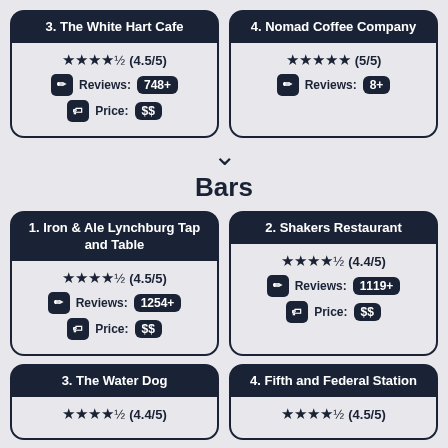3. The White Hart Cafe
★★★★½ (4.5/5) Reviews: 748+ Price: $$
4. Nomad Coffee Company
★★★★★ (5/5) Reviews: 8+
▼
Bars
1. Iron & Ale Lynchburg Tap and Table
★★★★½ (4.5/5) Reviews: 1254+ Price: $$
2. Shakers Restaurant
★★★★½ (4.4/5) Reviews: 1119+ Price: $$
3. The Water Dog
★★★★½ (4.4/5)
4. Fifth and Federal Station
★★★★½ (4.5/5)